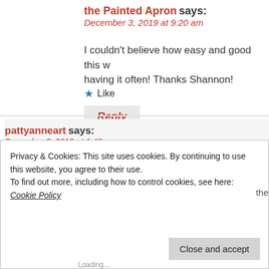the Painted Apron says:
December 3, 2019 at 9:20 am
I couldn't believe how easy and good this w… having it often! Thanks Shannon!
Like
Reply
pattyanneart says:
December 3, 2019 at 1:43 pm
Yum! Sounds like a must try for sure. Thanks, J
Loading...
Reply
Privacy & Cookies: This site uses cookies. By continuing to use this website, you agree to their use. To find out more, including how to control cookies, see here: Cookie Policy
Close and accept
Loading...